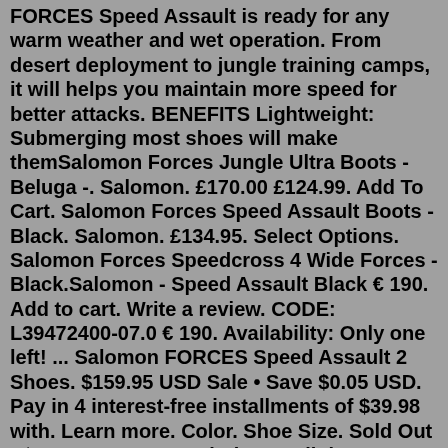FORCES Speed Assault is ready for any warm weather and wet operation. From desert deployment to jungle training camps, it will helps you maintain more speed for better attacks. BENEFITS Lightweight: Submerging most shoes will make themSalomon Forces Jungle Ultra Boots - Beluga -. Salomon. £170.00 £124.99. Add To Cart. Salomon Forces Speed Assault Boots - Black. Salomon. £134.95. Select Options. Salomon Forces Speedcross 4 Wide Forces - Black.Salomon - Speed Assault Black € 190. Add to cart. Write a review. CODE: L39472400-07.0 € 190. Availability: Only one left! ... Salomon FORCES Speed Assault 2 Shoes. $159.95 USD Sale • Save $0.05 USD. Pay in 4 interest-free installments of $39.98 with. Learn more. Color. Shoe Size. Sold Out • $159.95 USD. Description. As light, protective and fiercely gripped as its predecessor, the SPEED ASSAULT 2 offers more everyday comfort and more technical features – not to ... Buy Salomon Speed Assaultz Online At Clearance Price From Canada Factory Outlet Store. money_off Extra 5% OFF